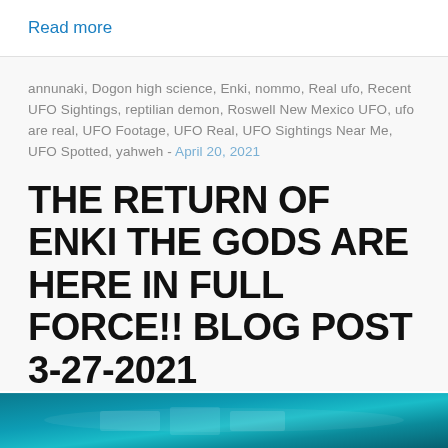Read more
annunaki, Dogon high science, Enki, nommo, Real ufo, Recent UFO Sightings, reptilian demon, Roswell New Mexico UFO, ufo are real, UFO Footage, UFO Real, UFO Sightings Near Me, UFO Spotted, yahweh - April 20, 2021
THE RETURN OF ENKI THE GODS ARE HERE IN FULL FORCE!! BLOG POST 3-27-2021
[Figure (photo): Teal/cyan colored image strip at the bottom of the page, partially visible, showing what appears to be a dark geometric or UFO-related graphic with light effects.]